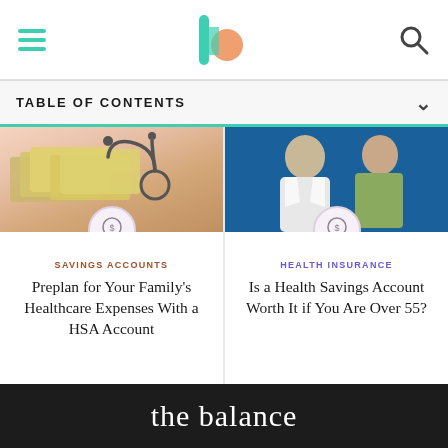The Balance navigation bar with hamburger menu, logo, and search icon
TABLE OF CONTENTS
[Figure (photo): Money and stethoscope on pink background - healthcare savings concept]
[Figure (photo): Doctor consulting with elderly female patient]
SAVINGS ACCOUNTS
Preplan for Your Family's Healthcare Expenses With a HSA Account
HEALTH INSURANCE
Is a Health Savings Account Worth It if You Are Over 55?
[Figure (logo): The Balance logo in white on dark background]
[Figure (logo): Dotdash Meredith advertisement strip - We help people find answers, solve problems and get inspired.]